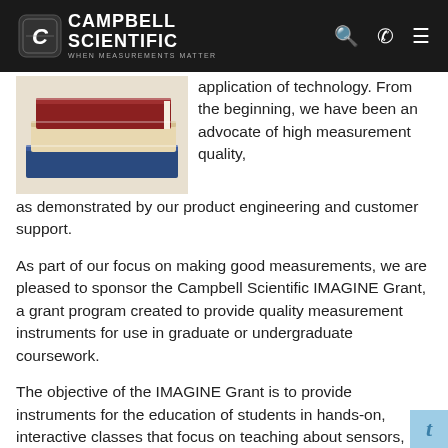CAMPBELL SCIENTIFIC — WHEN MEASUREMENTS MATTER
[Figure (photo): Stack of books photo on left side]
application of technology. From the beginning, we have been an advocate of high measurement quality, as demonstrated by our product engineering and customer support.
As part of our focus on making good measurements, we are pleased to sponsor the Campbell Scientific IMAGINE Grant, a grant program created to provide quality measurement instruments for use in graduate or undergraduate coursework.
The objective of the IMAGINE Grant is to provide instruments for the education of students in hands-on, interactive classes that focus on teaching about sensors, instruments, and how measurements are made.